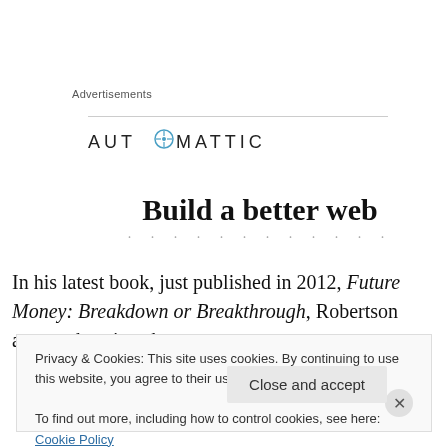Advertisements
[Figure (logo): Automattic logo with compass icon and uppercase text reading AUTOMATTIC]
Build a better web
In his latest book, just published in 2012, Future Money: Breakdown or Breakthrough, Robertson asserts that since he
Privacy & Cookies: This site uses cookies. By continuing to use this website, you agree to their use.
To find out more, including how to control cookies, see here: Cookie Policy